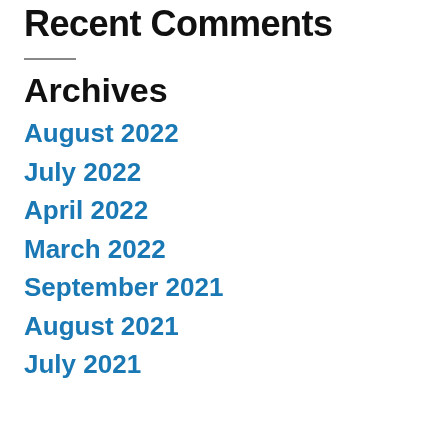Recent Comments
Archives
August 2022
July 2022
April 2022
March 2022
September 2021
August 2021
July 2021